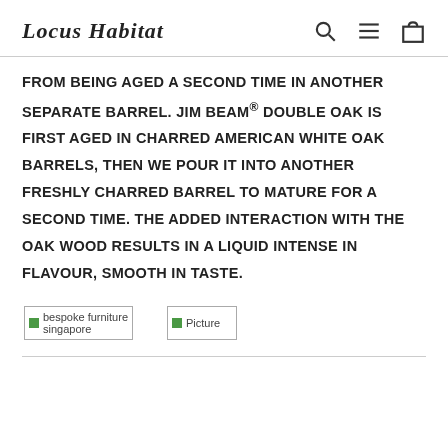Locus Habitat
FROM BEING AGED A SECOND TIME IN ANOTHER SEPARATE BARREL. JIM BEAM® DOUBLE OAK IS FIRST AGED IN CHARRED AMERICAN WHITE OAK BARRELS, THEN WE POUR IT INTO ANOTHER FRESHLY CHARRED BARREL TO MATURE FOR A SECOND TIME. THE ADDED INTERACTION WITH THE OAK WOOD RESULTS IN A LIQUID INTENSE IN FLAVOUR, SMOOTH IN TASTE.
[Figure (photo): bespoke furniture singapore - placeholder image]
[Figure (photo): Picture - placeholder image]